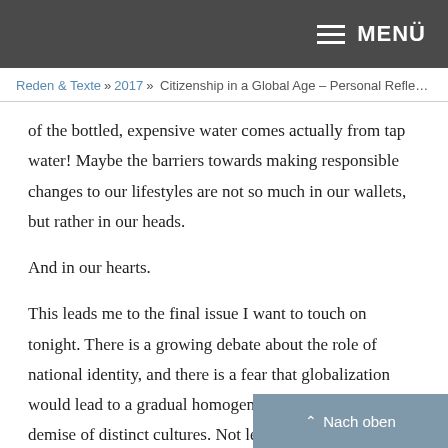MENÜ
Reden & Texte » 2017 » Citizenship in a Global Age – Personal Reflect…
of the bottled, expensive water comes actually from tap water! Maybe the barriers towards making responsible changes to our lifestyles are not so much in our wallets, but rather in our heads.
And in our hearts.
This leads me to the final issue I want to touch on tonight. There is a growing debate about the role of national identity, and there is a fear that globalization would lead to a gradual homogenization and the latent demise of distinct cultures. Not least that fear contributes to the rise of nationalism in many countries. There are three points I would like to make in that debate: